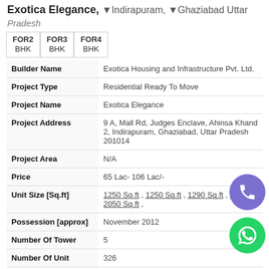Exotica Elegance, Indirapuram, Ghaziabad Uttar Pradesh
| Field | Value |
| --- | --- |
| Builder Name | Exotica Housing and Infrastructure Pvt. Ltd. |
| Project Type | Residential Ready To Move |
| Project Name | Exotica Elegance |
| Project Address | 9 A, Mall Rd, Judges Enclave, Ahinsa Khand 2, Indirapuram, Ghaziabad, Uttar Pradesh 201014 |
| Project Area | N/A |
| Price | 65 Lac- 106 Lac/- |
| Unit Size [Sq.ft] | 1250 Sq.ft , 1250 Sq.ft , 1290 Sq.ft , 1595 S… 2050 Sq.ft , |
| Possession [approx] | November 2012 |
| Number Of Tower | 5 |
| Number Of Unit | 326 |
| Rera Number |  |